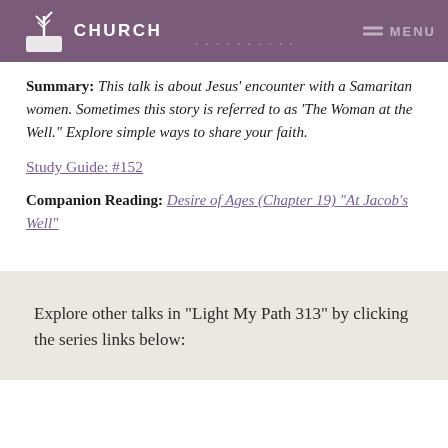CHURCH
Summary: This talk is about Jesus' encounter with a Samaritan women. Sometimes this story is referred to as 'The Woman at the Well." Explore simple ways to share your faith.
Study Guide: #152
Companion Reading: Desire of Ages (Chapter 19) "At Jacob's Well"
Explore other talks in "Light My Path 313" by clicking the series links below: